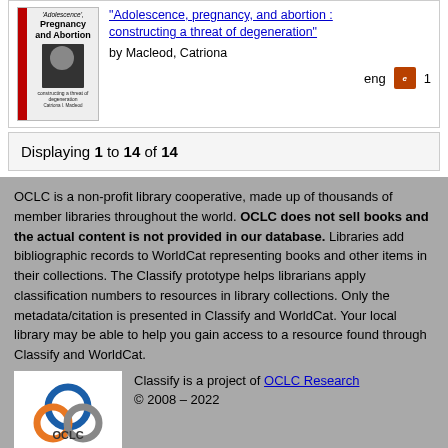[Figure (illustration): Book cover for 'Adolescence, Pregnancy and Abortion' by Catriona Macleod]
"Adolescence, pregnancy, and abortion : constructing a threat of degeneration" by Macleod, Catriona
eng   [ebook icon]   1
Displaying 1 to 14 of 14
OCLC is a non-profit library cooperative, made up of thousands of member libraries throughout the world. OCLC does not sell books and the actual content is not provided in our database. Libraries add bibliographic records to WorldCat representing books and other items in their collections. The Classify prototype helps librarians apply classification numbers to resources in library collections. Only the metadata/citation is presented in Classify and WorldCat. Your local library may be able to help you gain access to a resource found through Classify and WorldCat.
[Figure (logo): OCLC logo — blue, orange and grey interlocking rings with OCLC text]
Classify is a project of OCLC Research
© 2008 – 2022